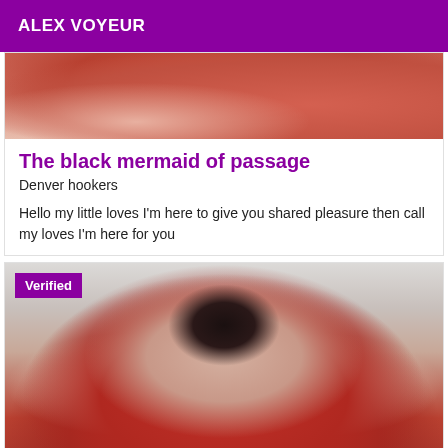ALEX VOYEUR
[Figure (photo): Top portion of a person partially visible, cropped image with red/warm tones]
The black mermaid of passage
Denver hookers
Hello my little loves I'm here to give you shared pleasure then call my loves I'm here for you
[Figure (photo): Woman with dark hair wearing a red top, holding her hand near her mouth, webcam-style photo with 'Verified' badge overlay]